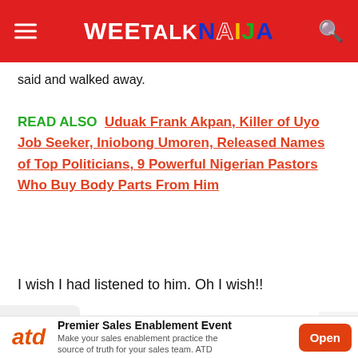WEETALKNAIJA
said and walked away.
READ ALSO  Uduak Frank Akpan, Killer of Uyo Job Seeker, Iniobong Umoren, Released Names of Top Politicians, 9 Powerful Nigerian Pastors Who Buy Body Parts From Him
I wish I had listened to him. Oh I wish!!
[Figure (other): Advertisement: ATD Premier Sales Enablement Event - Make your sales enablement practice the source of truth for your sales team. ATD. Open button.]